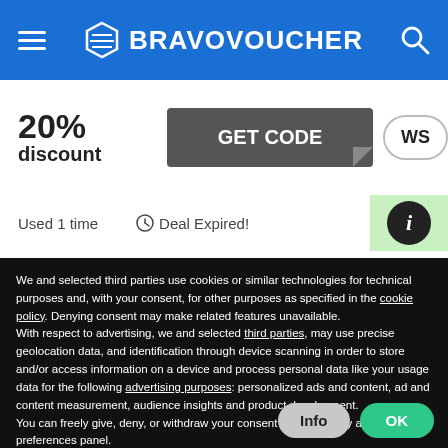BRAVOVOUCHER
[Figure (screenshot): Coupon strip showing '20% discount', 'GET CODE' button, 'WS' pill, 'Used 1 time', clock icon with 'Deal Expired!', and green info circle]
We and selected third parties use cookies or similar technologies for technical purposes and, with your consent, for other purposes as specified in the cookie policy. Denying consent may make related features unavailable.
With respect to advertising, we and selected third parties, may use precise geolocation data, and identification through device scanning in order to store and/or access information on a device and process personal data like your usage data for the following advertising purposes: personalized ads and content, ad and content measurement, audience insights and product development.
You can freely give, deny, or withdraw your consent at any time by accessing the preferences panel.
You can consent to the use of such technologies by using the “OK” button or by continuing to browse otherwise.